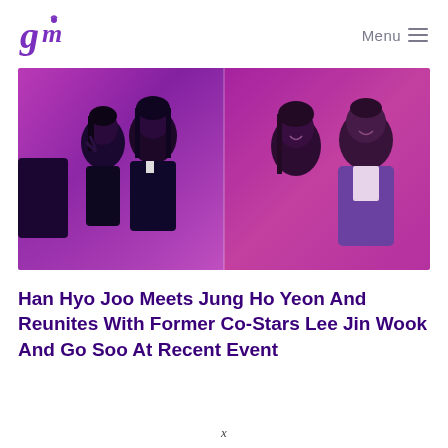Menu
[Figure (photo): Two side-by-side photos taken at a purple/pink-lit event. Left photo shows two women smiling, one making a peace sign. Right photo shows a woman and a man smiling together, both in semi-formal attire under pink lighting.]
Han Hyo Joo Meets Jung Ho Yeon And Reunites With Former Co-Stars Lee Jin Wook And Go Soo At Recent Event